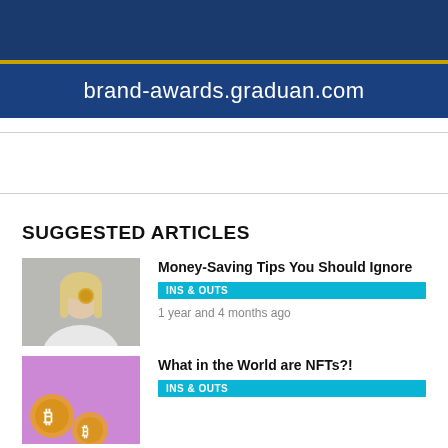[Figure (screenshot): Dark blue banner with gold dividing line and URL text 'brand-awards.graduan.com' in white on a slightly lighter blue background.]
SUGGESTED ARTICLES
[Figure (photo): A blonde woman in a white shirt holding a coin over her eye against a grey background.]
Money-Saving Tips You Should Ignore
INS & OUTS
1 year and 4 months ago
[Figure (photo): Purple/pink background with decorative coin-like elements.]
What in the World are NFTs?!
INS & OUTS